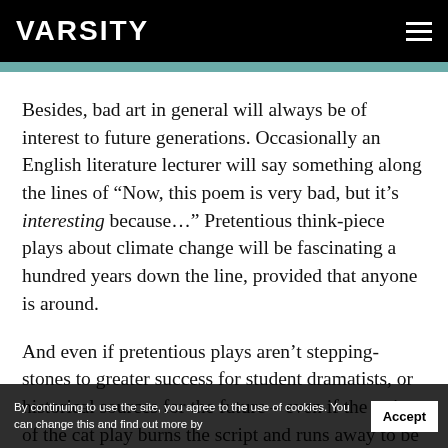VARSITY
Besides, bad art in general will always be of interest to future generations. Occasionally an English literature lecturer will say something along the lines of “Now, this poem is very bad, but it’s interesting because…” Pretentious think-piece plays about climate change will be fascinating a hundred years down the line, provided that anyone is around.
And even if pretentious plays aren’t stepping-stones to greater success for student dramatists, or historical sources for the future – even if the writer of the cat play burns the script and runs away to be a hedge fund manager, I would still applaud when the curtain falls. The play has what so many more successful enthusiasts lack: audacity and burning ambition
By continuing to use the site, you agree to the use of cookies. You can change this and find out more by